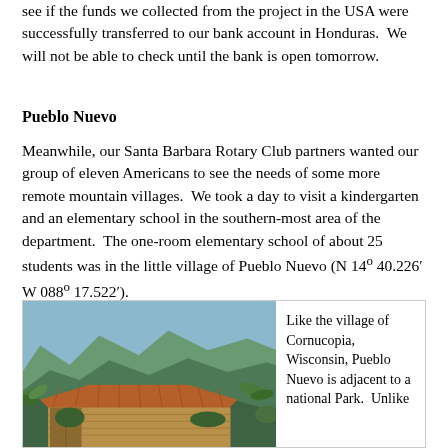see if the funds we collected from the project in the USA were successfully transferred to our bank account in Honduras.  We will not be able to check until the bank is open tomorrow.
Pueblo Nuevo
Meanwhile, our Santa Barbara Rotary Club partners wanted our group of eleven Americans to see the needs of some more remote mountain villages.  We took a day to visit a kindergarten and an elementary school in the southern-most area of the department.  The one-room elementary school of about 25 students was in the little village of Pueblo Nuevo (N 14º 40.226’ W 088º 17.522’).
[Figure (photo): Photograph of a small building with a terracotta tile roof and wooden walls, surrounded by tropical vegetation including banana plants, with lush green mountains in the background.]
Like the village of Cornucopia, Wisconsin, Pueblo Nuevo is adjacent to a national Park.  Unlike